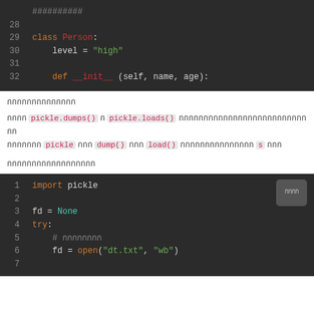[Figure (screenshot): Python code block showing lines 28-32 with class Person definition on dark background]
กกกกกกกกกกกกกก
กกกก pickle.dumps() ก pickle.loads() กกกกกกกกกกกกกกกกกกกกกกกกกกกก กกกกกกก pickle กกก dump() กกก load() กกกกกกกกกกกกกกก s กกก
กกกกกกกกกกกกกกกกกก
[Figure (screenshot): Python code block showing lines 1-7 with import pickle, fd = None, try: and file open on dark background]